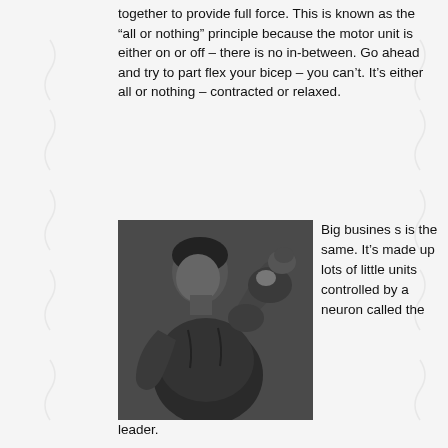together to provide full force. This is known as the “all or nothing” principle because the motor unit is either on or off – there is no in-between. Go ahead and try to part flex your bicep – you can’t. It’s either all or nothing – contracted or relaxed.
[Figure (photo): Black and white photograph of a muscular man (Arnold Schwarzenegger) flexing his bicep]
Big business is the same. It’s made up lots of little units controlled by a neuron called the leader.